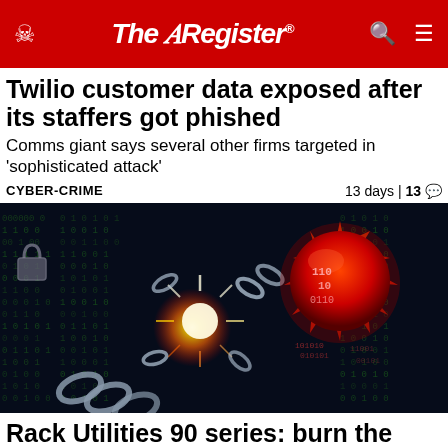The Register
Twilio customer data exposed after its staffers got phished
Comms giant says several other firms targeted in 'sophisticated attack'
CYBER-CRIME   13 days | 13
[Figure (photo): Cybersecurity themed image showing binary code, chains, a glowing explosion, and a red spiked orb on a dark background]
Rack Utilities 90 series: burn the number of h...